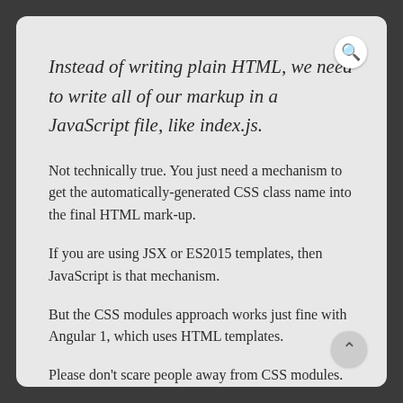Instead of writing plain HTML, we need to write all of our markup in a JavaScript file, like index.js.
Not technically true. You just need a mechanism to get the automatically-generated CSS class name into the final HTML mark-up.
If you are using JSX or ES2015 templates, then JavaScript is that mechanism.
But the CSS modules approach works just fine with Angular 1, which uses HTML templates.
Please don't scare people away from CSS modules. :)